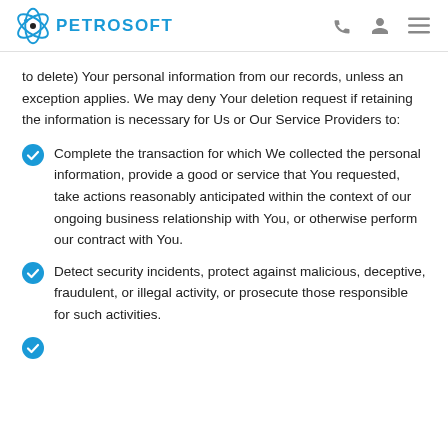PETROSOFT
to delete) Your personal information from our records, unless an exception applies. We may deny Your deletion request if retaining the information is necessary for Us or Our Service Providers to:
Complete the transaction for which We collected the personal information, provide a good or service that You requested, take actions reasonably anticipated within the context of our ongoing business relationship with You, or otherwise perform our contract with You.
Detect security incidents, protect against malicious, deceptive, fraudulent, or illegal activity, or prosecute those responsible for such activities.